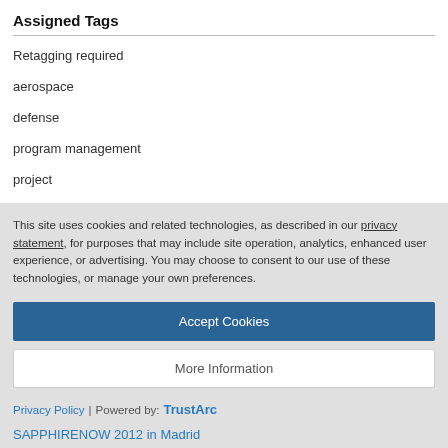Assigned Tags
Retagging required
aerospace
defense
program management
project
This site uses cookies and related technologies, as described in our privacy statement, for purposes that may include site operation, analytics, enhanced user experience, or advertising. You may choose to consent to our use of these technologies, or manage your own preferences.
Accept Cookies
More Information
Privacy Policy | Powered by: TrustArc
SAPPHIRENOW 2012 in Madrid